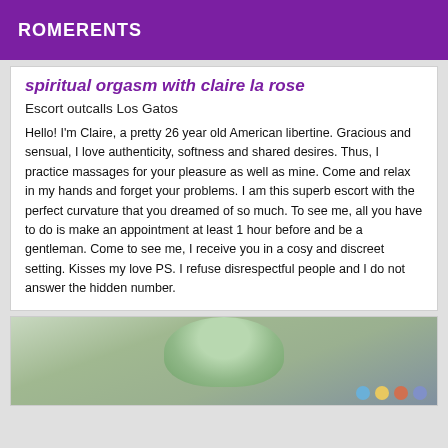ROMERENTS
spiritual orgasm with claire la rose
Escort outcalls Los Gatos
Hello! I'm Claire, a pretty 26 year old American libertine. Gracious and sensual, I love authenticity, softness and shared desires. Thus, I practice massages for your pleasure as well as mine. Come and relax in my hands and forget your problems. I am this superb escort with the perfect curvature that you dreamed of so much. To see me, all you have to do is make an appointment at least 1 hour before and be a gentleman. Come to see me, I receive you in a cosy and discreet setting. Kisses my love PS. I refuse disrespectful people and I do not answer the hidden number.
[Figure (photo): Partial photo of a person with light green/teal colored hair, with colorful polka dot pattern visible in lower right corner]